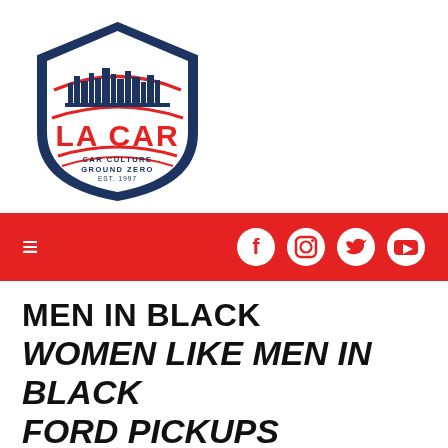[Figure (logo): LA CAR shield logo with city skyline, red text 'LA CAR', and tagline 'CAR CULTURE GROUND ZERO EST. 1997']
≡  [Facebook] [Instagram] [Twitter] [YouTube]
MEN IN BLACK
WOMEN LIKE MEN IN BLACK FORD PICKUPS
This article is from our archives and has not been updated and integrated with our "new" site yet...